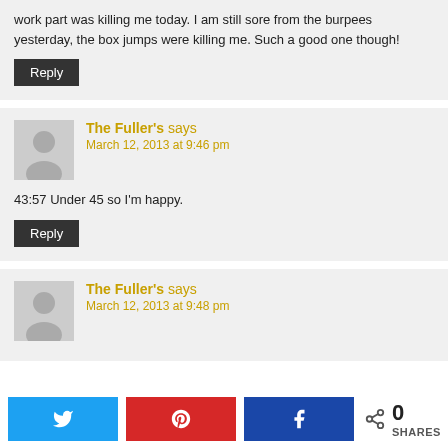work part was killing me today. I am still sore from the burpees yesterday, the box jumps were killing me. Such a good one though!
Reply
The Fuller's says
March 12, 2013 at 9:46 pm
43:57 Under 45 so I'm happy.
Reply
The Fuller's says
March 12, 2013 at 9:48 pm